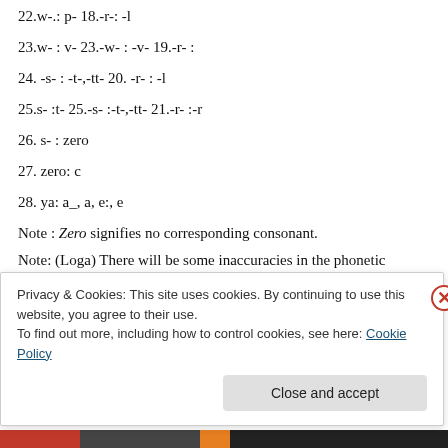22.w-.: p- 18.-r-: -l
23.w- : v- 23.-w- : -v- 19.-r- :
24. -s- : -t-,-tt- 20. -r- : -l
25.s- :t- 25.-s- :-t-,-tt- 21.-r- :-r
26. s- : zero
27. zero: c
28. ya: a_, a, e:, e
Note : Zero signifies no corresponding consonant.
Note: (Loga) There will be some inaccuracies in the phonetic
Privacy & Cookies: This site uses cookies. By continuing to use this website, you agree to their use.
To find out more, including how to control cookies, see here: Cookie Policy